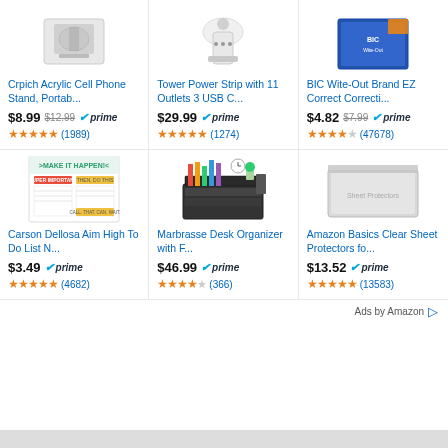[Figure (photo): Crpich Acrylic Cell Phone Stand product image]
Crpich Acrylic Cell Phone Stand, Portab...
$8.99 $12.99 prime (1989)
[Figure (photo): Tower Power Strip with 11 Outlets 3 USB C product image]
Tower Power Strip with 11 Outlets 3 USB C...
$29.99 prime (1274)
[Figure (photo): BIC Wite-Out Brand EZ Correct Correcti... product image]
BIC Wite-Out Brand EZ Correct Correcti...
$4.82 $7.99 prime (47678)
[Figure (photo): Carson Dellosa Aim High To Do List notepad product image]
Carson Dellosa Aim High To Do List N...
$3.49 prime (4682)
[Figure (photo): Marbrasse Desk Organizer with file folders product image]
Marbrasse Desk Organizer with F...
$46.99 prime (366)
[Figure (photo): Amazon Basics Clear Sheet Protectors product image]
Amazon Basics Clear Sheet Protectors fo...
$13.52 prime (13583)
Ads by Amazon